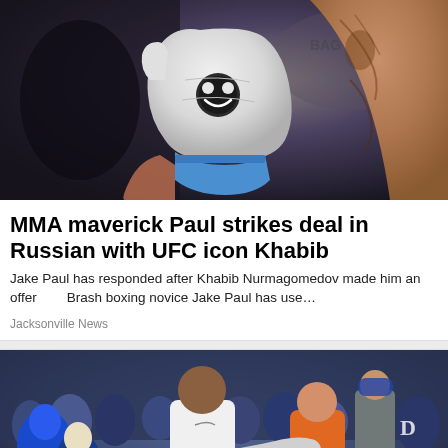[Figure (photo): Boxing/MMA photo showing a white boxing glove with a logo, tattooed arm holding it, dark background]
MMA maverick Paul strikes deal in Russian with UFC icon Khabib
Jake Paul has responded after Khabib Nurmagomedov made him an offer      Brash boxing novice Jake Paul has use…
Jacksonville News
[Figure (photo): Basketball game photo showing Duke player #5 in white jersey dribbling against Syracuse player in orange jersey, crowd in background]